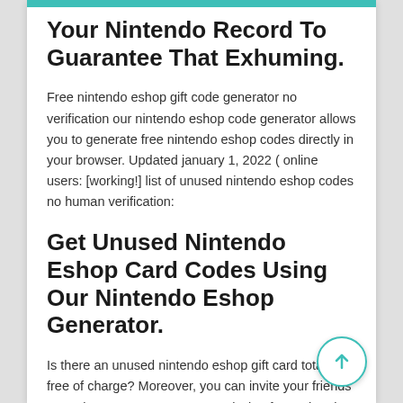Your Nintendo Record To Guarantee That Exhuming.
Free nintendo eshop gift code generator no verification our nintendo eshop code generator allows you to generate free nintendo eshop codes directly in your browser. Updated january 1, 2022 ( online users: [working!] list of unused nintendo eshop codes no human verification:
Get Unused Nintendo Eshop Card Codes Using Our Nintendo Eshop Generator.
Is there an unused nintendo eshop gift card totally free of charge? Moreover, you can invite your friends to appkarma to earn 30% commission from what they earn from app completing appkarma offers. Free unused